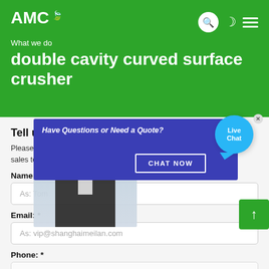AMC
What we do
double cavity curved surface crusher
Tell us what you are looking for?
Please complete and submit the following form and our sales team will contact you shortly with our best prices.
Name: *
As: Tom
Email: *
As: vip@shanghaimeilan.com
Phone: *
[Figure (screenshot): Live chat popup overlay with a customer service representative image, a dark blue banner reading 'Have Questions or Need a Quote?', a 'CHAT NOW' button, and a blue 'Live Chat' bubble icon in the top right corner.]